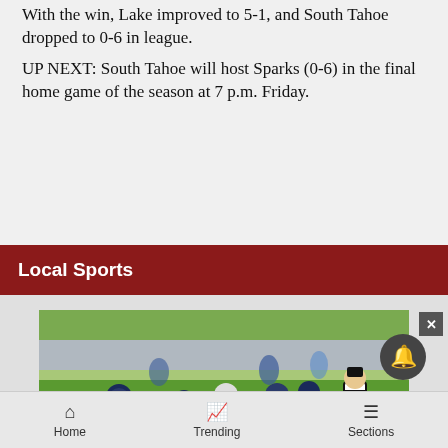With the win, Lake improved to 5-1, and South Tahoe dropped to 0-6 in league.
UP NEXT: South Tahoe will host Sparks (0-6) in the final home game of the season at 7 p.m. Friday.
Local Sports
[Figure (photo): Football game action photo showing players in blue uniforms during a play, with a referee in black and white stripes visible on the right side, on a green field with trees in background.]
Home   Trending   Sections